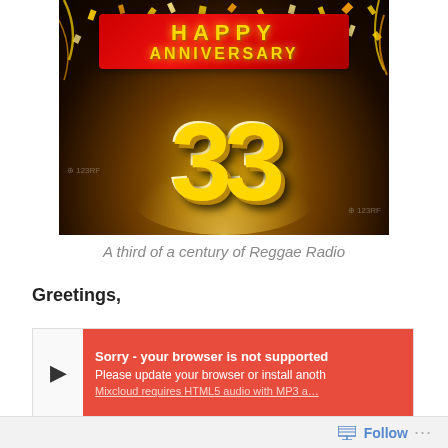[Figure (illustration): Anniversary image: dark festive background with gold confetti, a red banner reading HAPPY ANNIVERSARY, and a large gold metallic number 33 in spotlight. Watermarks from 123RF visible.]
A third of a century of Reggae Radio
Greetings,
[Figure (screenshot): Audio player widget showing a play button triangle on the left and a red error overlay on the right reading: Sorry - your browser is not supported. Please update your browser or install another. Mixcloud requires HTML5 audio with MP3 a…]
Follow …